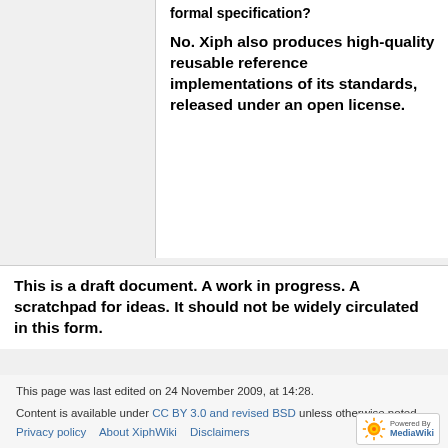formal specification?
No. Xiph also produces high-quality reusable reference implementations of its standards, released under an open license.
This is a draft document. A work in progress. A scratchpad for ideas. It should not be widely circulated in this form.
This page was last edited on 24 November 2009, at 14:28.

Content is available under CC BY 3.0 and revised BSD unless otherwise noted.

Privacy policy   About XiphWiki   Disclaimers